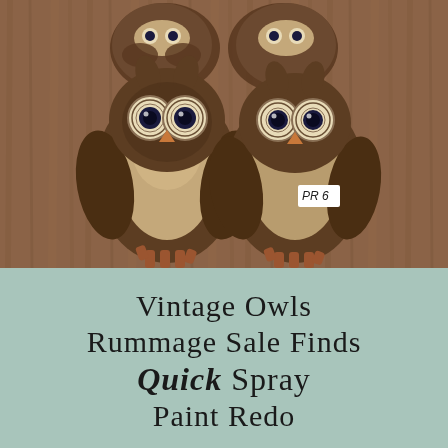[Figure (photo): Two vintage ceramic owl figurines placed on a wooden surface, viewed from above. The owls are brown with cream-colored chests and black eyes. A small white price tag reading 'PR 6' is visible on one of the owls.]
Vintage Owls Rummage Sale Finds Quick Spray Paint Redo